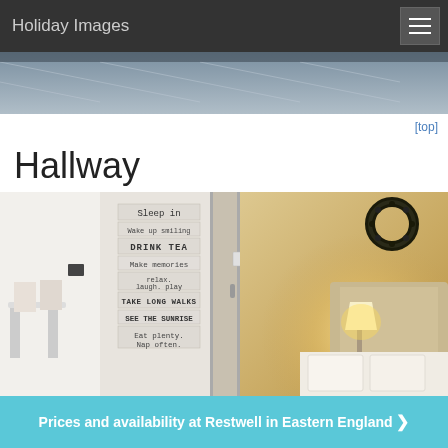Holiday Images
[Figure (photo): Partial view of a bedroom with chevron-patterned bedding, cropped at the top of the page]
[top]
Hallway
[Figure (photo): Hallway photo showing a decorative wooden sign with text: Sleep in, Wake up smiling, DRINK TEA, Make memories, relax laugh play, TAKE LONG WALKS, SEE THE SUNRISE, Eat plenty. Nap often. On the right side is a warm bedroom scene with a lamp, wreath, and headboard.]
Prices and availability at Restwell in Eastern England ❯